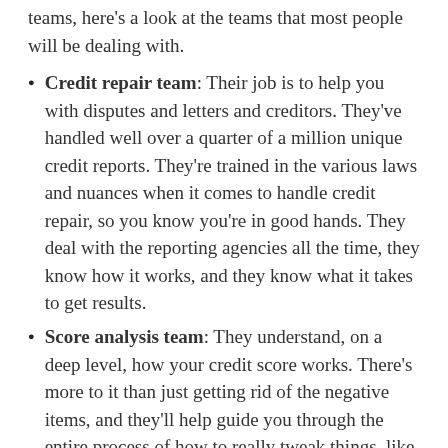teams, here's a look at the teams that most people will be dealing with.
Credit repair team: Their job is to help you with disputes and letters and creditors. They've handled well over a quarter of a million unique credit reports. They're trained in the various laws and nuances when it comes to handle credit repair, so you know you're in good hands. They deal with the reporting agencies all the time, they know how it works, and they know what it takes to get results.
Score analysis team: They understand, on a deep level, how your credit score works. There's more to it than just getting rid of the negative items, and they'll help guide you through the entire process of how to really tweak things, like your debt to income ratio, in a way that will do the most good for your credit score.
Support team: They're known for treating their customers like people, not like numbers.